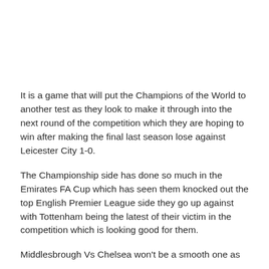It is a game that will put the Champions of the World to another test as they look to make it through into the next round of the competition which they are hoping to win after making the final last season lose against Leicester City 1-0.
The Championship side has done so much in the Emirates FA Cup which has seen them knocked out the top English Premier League side they go up against with Tottenham being the latest of their victim in the competition which is looking good for them.
Middlesbrough Vs Chelsea won't be a smooth one as